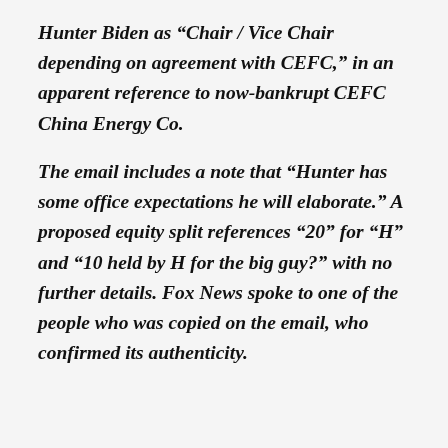Hunter Biden as “Chair / Vice Chair depending on agreement with CEFC,” in an apparent reference to now-bankrupt CEFC China Energy Co.
The email includes a note that “Hunter has some office expectations he will elaborate.” A proposed equity split references “20” for “H” and “10 held by H for the big guy?” with no further details. Fox News spoke to one of the people who was copied on the email, who confirmed its authenticity.